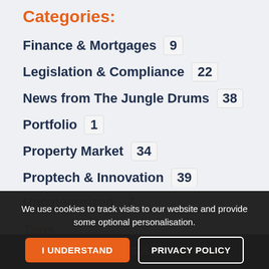Categories:
Finance & Mortgages  9
Legislation & Compliance  22
News from The Jungle Drums  38
Portfolio  1
Property Market  34
Proptech & Innovation  39
Sales & Marketing  58
Uncategorized  7
Tags
We use cookies to track visits to our website and provide some optional personalisation.
I UNDERSTAND   PRIVACY POLICY